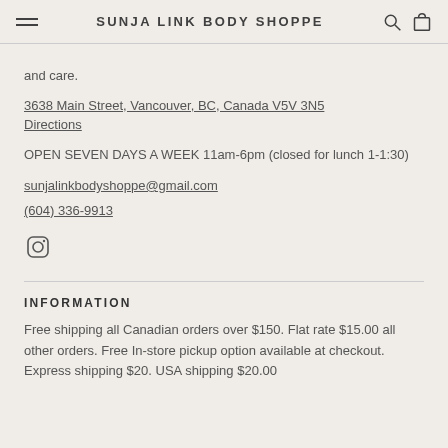SUNJA LINK BODY SHOPPE
and care.
3638 Main Street, Vancouver, BC, Canada V5V 3N5
Directions
OPEN SEVEN DAYS A WEEK 11am-6pm (closed for lunch 1-1:30)
sunjalinkbodyshoppe@gmail.com
(604) 336-9913
[Figure (logo): Instagram icon]
INFORMATION
Free shipping all Canadian orders over $150. Flat rate $15.00 all other orders. Free In-store pickup option available at checkout. Express shipping $20. USA shipping $20.00